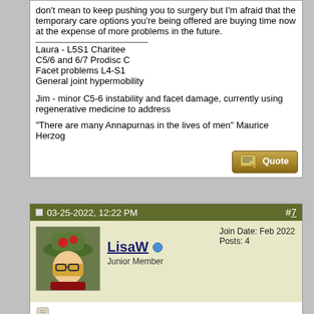don't mean to keep pushing you to surgery but I'm afraid that the temporary care options you're being offered are buying time now at the expense of more problems in the future.
Laura - L5S1 Charitee
C5/6 and 6/7 Prodisc C
Facet problems L4-S1
General joint hypermobility
Jim - minor C5-6 instability and facet damage, currently using regenerative medicine to address
"There are many Annapurnas in the lives of men" Maurice Herzog
03-25-2022, 12:22 PM
#7
[Figure (photo): Avatar photo of LisaW, a woman wearing glasses and a green hat]
LisaW
Junior Member
Join Date: Feb 2022
Posts: 4
Thank you, I think that's a really valid point and one that I can considering heavily right now. Meeting with surgeon next week.